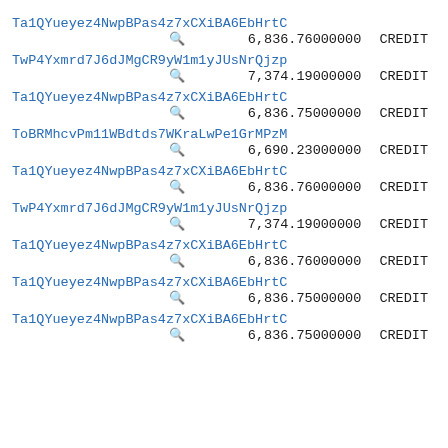Ta1QYueyez4NwpBPas4z7xCXiBA6EbHrtC
🔍 6,836.76000000 CREDIT
TwP4Yxmrd7J6dJMgCR9yW1m1yJUsNrQjzp
🔍 7,374.19000000 CREDIT
Ta1QYueyez4NwpBPas4z7xCXiBA6EbHrtC
🔍 6,836.75000000 CREDIT
ToBRMhcvPm11WBdtds7WKraLwPe1GrMPzM
🔍 6,690.23000000 CREDIT
Ta1QYueyez4NwpBPas4z7xCXiBA6EbHrtC
🔍 6,836.76000000 CREDIT
TwP4Yxmrd7J6dJMgCR9yW1m1yJUsNrQjzp
🔍 7,374.19000000 CREDIT
Ta1QYueyez4NwpBPas4z7xCXiBA6EbHrtC
🔍 6,836.76000000 CREDIT
Ta1QYueyez4NwpBPas4z7xCXiBA6EbHrtC
🔍 6,836.75000000 CREDIT
Ta1QYueyez4NwpBPas4z7xCXiBA6EbHrtC
🔍 6,836.75000000 CREDIT